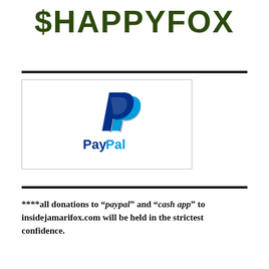$HAPPYFOX
[Figure (logo): PayPal logo with blue double-P icon above the PayPal wordmark in dark blue and light blue]
****all donations to “paypal” and “cash app” to insidejamarifox.com will be held in the strictest confidence.